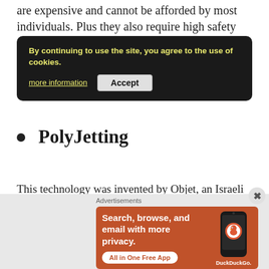are expensive and cannot be afforded by most individuals. Plus they also require high safety precautions, because of using laser beams, high power laser beams.
By continuing to use the site, you agree to the use of cookies. more information  Accept
PolyJetting
This technology was invented by Objet, an Israeli company that was recently merged with Stratasys in the year 2012. In PolyJetting, elements of both, Stereolithography and inkjet 2D, are involved. A liquid sensitive resin is
Advertisements
[Figure (screenshot): DuckDuckGo advertisement banner showing 'Search, browse, and email with more privacy. All in One Free App' with a phone mockup and DuckDuckGo logo]